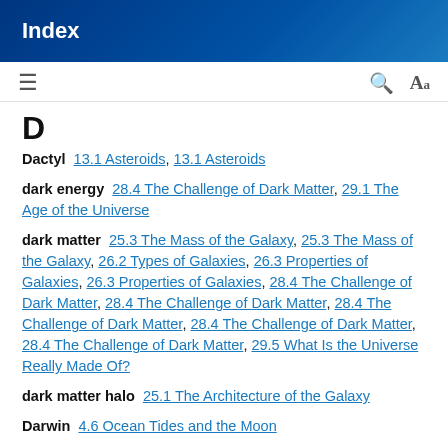Index
D
Dactyl  13.1 Asteroids, 13.1 Asteroids
dark energy  28.4 The Challenge of Dark Matter, 29.1 The Age of the Universe
dark matter  25.3 The Mass of the Galaxy, 25.3 The Mass of the Galaxy, 26.2 Types of Galaxies, 26.3 Properties of Galaxies, 26.3 Properties of Galaxies, 28.4 The Challenge of Dark Matter, 28.4 The Challenge of Dark Matter, 28.4 The Challenge of Dark Matter, 28.4 The Challenge of Dark Matter, 28.4 The Challenge of Dark Matter, 29.5 What Is the Universe Really Made Of?
dark matter halo  25.1 The Architecture of the Galaxy
Darwin  4.6 Ocean Tides and the Moon
Davis  16.4 The Solar Interior: Observations, 16.4 The